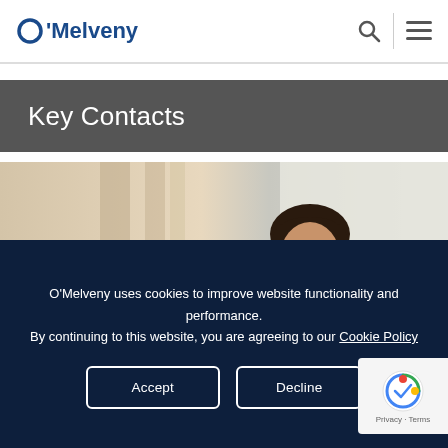O'Melveny
Key Contacts
[Figure (photo): Professional headshot of a woman with dark hair, wearing a dark blazer, smiling, in a bright indoor setting with blurred columns in background]
O'Melveny uses cookies to improve website functionality and performance. By continuing to this website, you are agreeing to our Cookie Policy
Accept
Decline